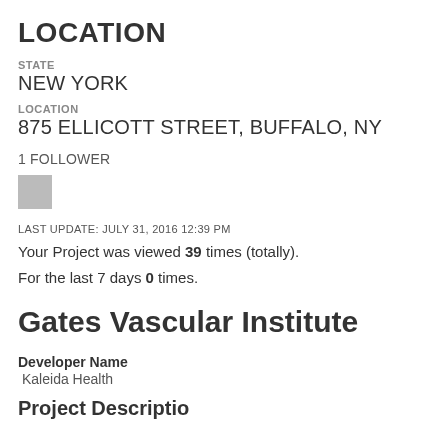LOCATION
STATE
NEW YORK
LOCATION
875 ELLICOTT STREET, BUFFALO, NY
1 FOLLOWER
[Figure (other): Small gray avatar/profile image placeholder box]
LAST UPDATE: JULY 31, 2016 12:39 PM
Your Project was viewed 39 times (totally).
For the last 7 days 0 times.
Gates Vascular Institute
Developer Name
Kaleida Health
Project Description